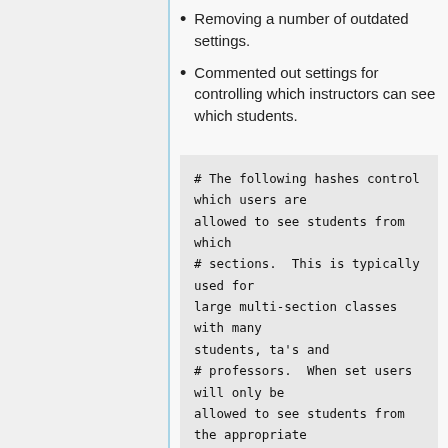Removing a number of outdated settings.
Commented out settings for controlling which instructors can see which students.
# The following hashes control which users are allowed to see students from which
# sections.  This is typically  used for large multi-section classes with many students, ta's and
# professors.  When set users will only be allowed to see students from the appropriate section in the following: